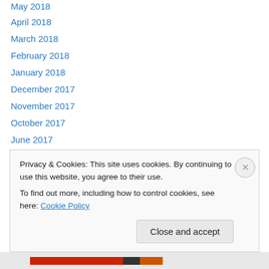May 2018
April 2018
March 2018
February 2018
January 2018
December 2017
November 2017
October 2017
June 2017
May 2017
April 2017
January 2017
December 2016
September 2016
Privacy & Cookies: This site uses cookies. By continuing to use this website, you agree to their use. To find out more, including how to control cookies, see here: Cookie Policy
Close and accept